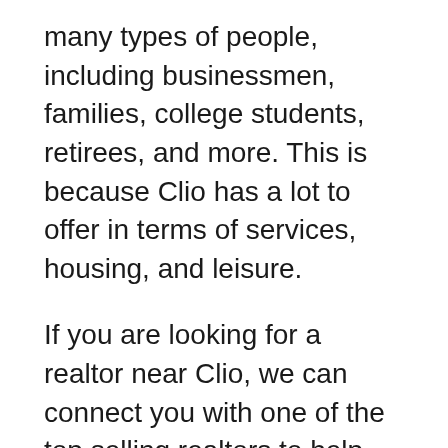many types of people, including businessmen, families, college students, retirees, and more. This is because Clio has a lot to offer in terms of services, housing, and leisure.
If you are looking for a realtor near Clio, we can connect you with one of the top selling realtors to help you sell or buy your next house. The best Clio realtors have an in-house team of people who assist them with real estate transactions to ensure a smooth process for everyone involved.